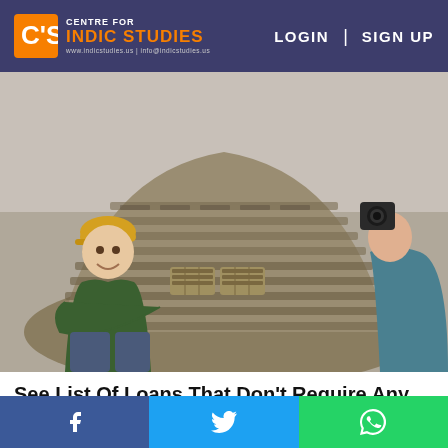CENTRE FOR INDIC STUDIES | LOGIN | SIGN UP
[Figure (photo): Two people posing with a very large pile of stacked cash/currency bills on what appears to be a floor or table. Person on left is a heavyset man in a green jacket and yellow cap, person on right is partially visible wearing a blue sweater.]
See List Of Loans That Don't Require Any Repayment. See Options
Loans | Search Ads
f  (Facebook share)  |  Twitter share  |  WhatsApp share